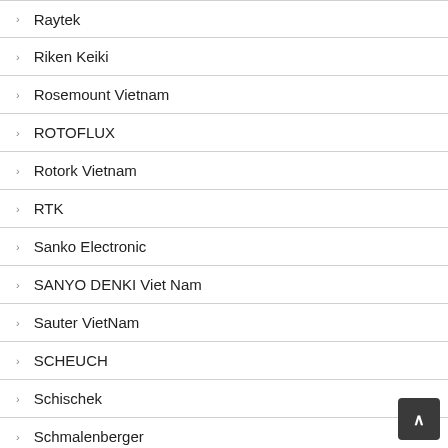Raytek
Riken Keiki
Rosemount Vietnam
ROTOFLUX
Rotork Vietnam
RTK
Sanko Electronic
SANYO DENKI Viet Nam
Sauter VietNam
SCHEUCH
Schischek
Schmalenberger
Schmersal Vietnam
Schneider
Schrack Vietnam